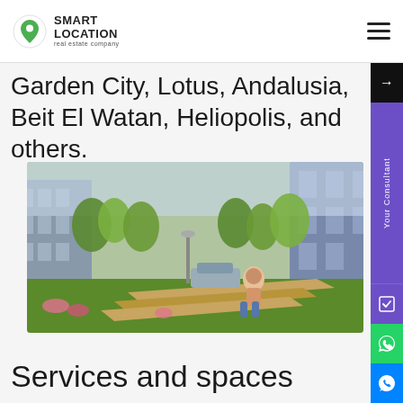SMART LOCATION real estate company
Garden City, Lotus, Andalusia, Beit El Watan, Heliopolis, and others.
[Figure (photo): A woman sitting on a modern wooden bench in a green urban park with trees and residential buildings in the background]
Services and spaces